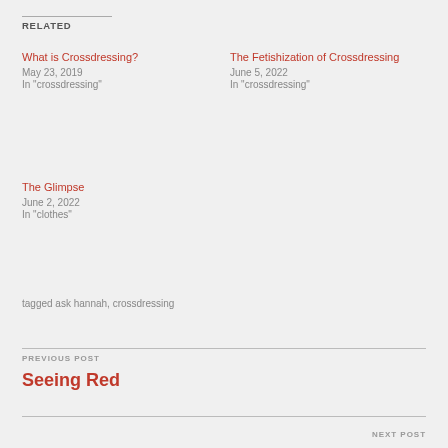RELATED
What is Crossdressing? May 23, 2019 In "crossdressing"
The Fetishization of Crossdressing June 5, 2022 In "crossdressing"
The Glimpse June 2, 2022 In "clothes"
tagged ask hannah, crossdressing
PREVIOUS POST Seeing Red
NEXT POST